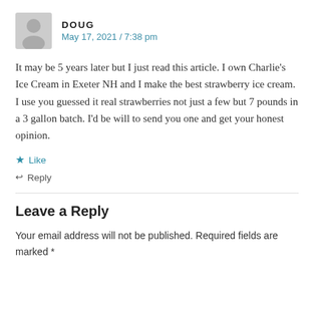DOUG
May 17, 2021 / 7:38 pm
It may be 5 years later but I just read this article. I own Charlie’s Ice Cream in Exeter NH and I make the best strawberry ice cream. I use you guessed it real strawberries not just a few but 7 pounds in a 3 gallon batch. I’d be will to send you one and get your honest opinion.
★ Like
↩ Reply
Leave a Reply
Your email address will not be published. Required fields are marked *